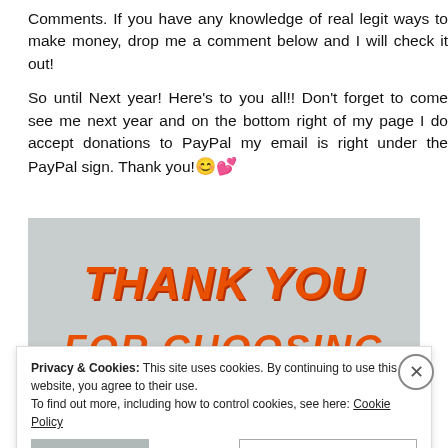Comments. If you have any knowledge of real legit ways to make money, drop me a comment below and I will check it out!

So until Next year! Here's to you all!! Don't forget to come see me next year and on the bottom right of my page I do accept donations to PayPal my email is right under the PayPal sign. Thank you!😊💕
[Figure (other): Image with orange bold italic text reading THANK YOU and partially visible text below, on a light gray background]
Privacy & Cookies: This site uses cookies. By continuing to use this website, you agree to their use.
To find out more, including how to control cookies, see here: Cookie Policy
Accept and Close